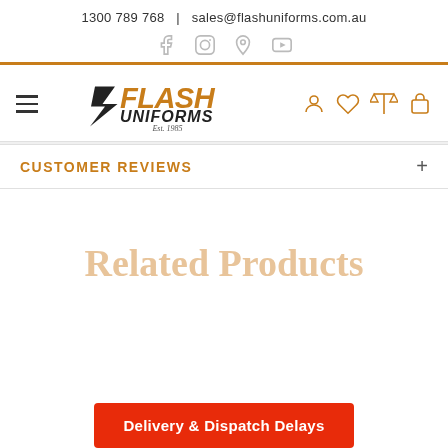1300 789 768  |  sales@flashuniforms.com.au
[Figure (other): Social media icons: Facebook, Instagram, Pinterest, YouTube]
[Figure (logo): Flash Uniforms logo with text 'Est. 1985' and navigation icons (hamburger menu, user, wishlist, compare, cart)]
CUSTOMER REVIEWS
Related Products
Delivery & Dispatch Delays